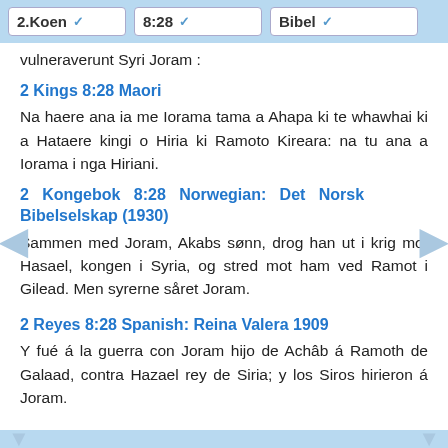2.Koen  8:28  Bibel
vulneraverunt Syri Joram :
2 Kings 8:28 Maori
Na haere ana ia me Iorama tama a Ahapa ki te whawhai ki a Hataere kingi o Hiria ki Ramoto Kireara: na tu ana a Iorama i nga Hiriani.
2 Kongebok 8:28 Norwegian: Det Norsk Bibelselskap (1930)
Sammen med Joram, Akabs sønn, drog han ut i krig mot Hasael, kongen i Syria, og stred mot ham ved Ramot i Gilead. Men syrerne såret Joram.
2 Reyes 8:28 Spanish: Reina Valera 1909
Y fué á la guerra con Joram hijo de Achâb á Ramoth de Galaad, contra Hazael rey de Siria; y los Siros hirieron á Joram.